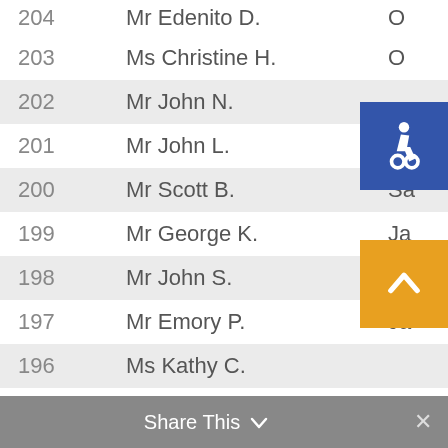| # | Name | Location |
| --- | --- | --- |
| 204 | Mr Edenito D. | O… |
| 203 | Ms Christine H. | O… |
| 202 | Mr John N. |  |
| 201 | Mr John L. | St… |
| 200 | Mr Scott B. | Sa… |
| 199 | Mr George K. | Ja… |
| 198 | Mr John S. | Ja… |
| 197 | Mr Emory P. | Ja… |
| 196 | Ms Kathy C. |  |
| 195 | Ms Jerome S. | Se… |
| 194 | Ms Denise W. | Fl… |
| 193 | Ms Chrystal B. | Ja… |
| 192 | Mrs Karen R. |  |